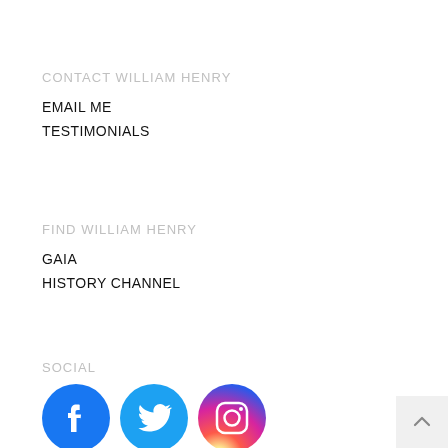CONTACT WILLIAM HENRY
EMAIL ME
TESTIMONIALS
FIND WILLIAM HENRY
GAIA
HISTORY CHANNEL
SOCIAL
[Figure (logo): Facebook, Twitter, and Instagram social media icons as colored circles with white logos]
[Figure (other): Back to top button with upward chevron arrow in bottom-right corner]